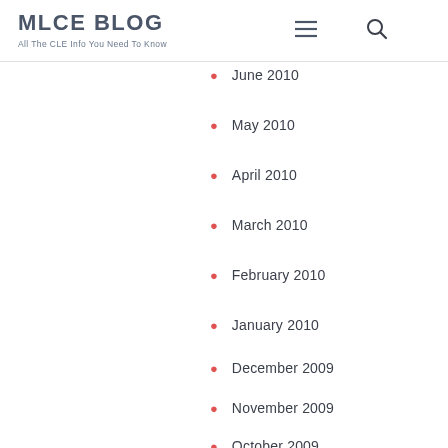MLCE BLOG — All The CLE Info You Need To Know
June 2010
May 2010
April 2010
March 2010
February 2010
January 2010
December 2009
November 2009
October 2009